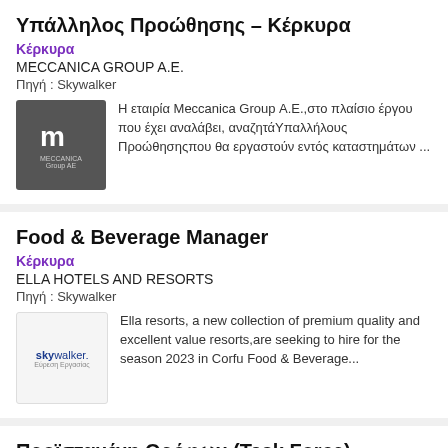Υπάλληλος Προώθησης – Κέρκυρα
Κέρκυρα
MECCANICA GROUP A.E.
Πηγή : Skywalker
Η εταιρία Meccanica Group Α.Ε.,στο πλαίσιο έργου που έχει αναλάβει, αναζητάΥπαλλήλους Προώθησηςπου θα εργαστούν εντός καταστημάτων ...
Food & Beverage Manager
Κέρκυρα
ELLA HOTELS AND RESORTS
Πηγή : Skywalker
Ella resorts, a new collection of premium quality and excellent value resorts,are seeking to hire for the season 2023 in Corfu Food & Beverage...
Προϊσταμένη Ορόφων (Task Force)